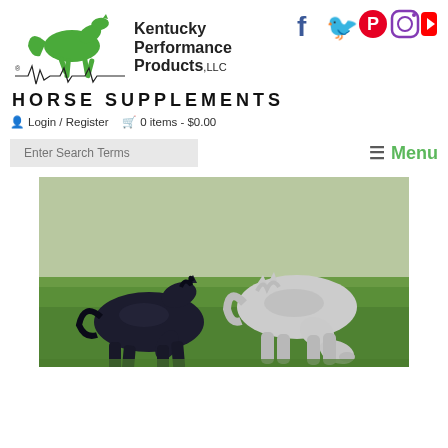[Figure (logo): Kentucky Performance Products LLC logo with green running horse silhouette and EKG-style line art underneath]
HORSE SUPPLEMENTS
[Figure (infographic): Social media icons: Facebook, Twitter, Pinterest, Instagram, YouTube in blue and red colors]
Login / Register  0 items - $0.00
Enter Search Terms
≡ Menu
[Figure (photo): Two horses grazing on green grass — one dark/black horse on the left and one grey/white horse on the right]